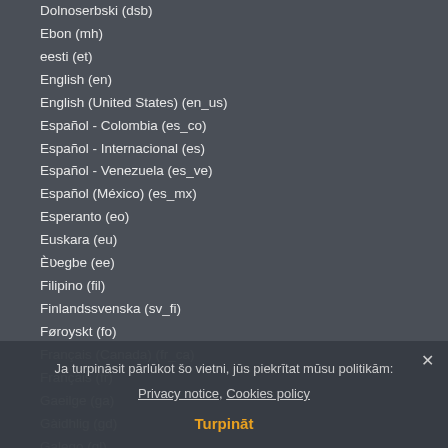Dolnoserbski (dsb)
Ebon (mh)
eesti (et)
English (en)
English (United States) (en_us)
Español - Colombia (es_co)
Español - Internacional (es)
Español - Venezuela (es_ve)
Español (México) (es_mx)
Esperanto (eo)
Euskara (eu)
Èʋegbe (ee)
Filipino (fil)
Finlandssvenska (sv_fi)
Føroyskt (fo)
Français (Canada) (fr_ca)
Français (fr)
Gaeilge (ga)
Gàidhlig (gd)
Galego (gl)
Gascon (oc_gsc)
Hausa (ha)
Hrv...
'Ōlelo Hawaiʻi (haw)
Igbo (ig)
isiZulu (zu)
Ja turpināsit pārlūkot šo vietni, jūs piekrītat mūsu politikām: Privacy notice, Cookies policy
Turpināt